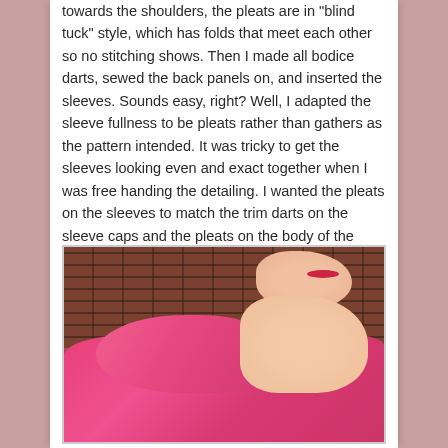towards the shoulders, the pleats are in "blind tuck" style, which has folds that meet each other so no stitching shows.  Then I made all bodice darts, sewed the back panels on, and inserted the sleeves.  Sounds easy, right?  Well, I adapted the sleeve fullness to be pleats rather than gathers as the pattern intended.  It was tricky to get the sleeves looking even and exact together when I was free handing the detailing.  I wanted the pleats on the sleeves to match the trim darts on the sleeve caps and the pleats on the body of the blouse.
[Figure (photo): A photo of a person wearing a bright pink/hot pink blouse with puffed sleeves, shown from the neck down with their hand raised near their chin. The background is a brick wall. The person has red lips visible at the top of the frame.]